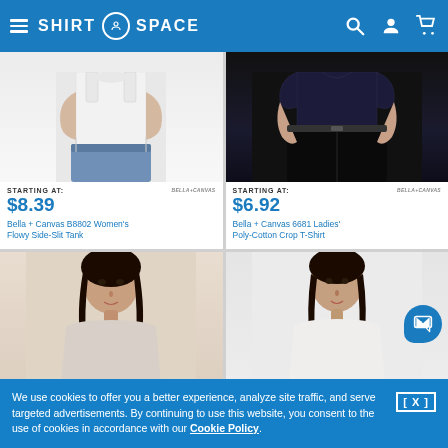SHIRT SPACE
[Figure (photo): Bella + Canvas B8802 Women's Flowy Side-Slit Tank product photo, white tank top on model]
STARTING AT:
BELLA+CANVAS
$8.39
Bella + Canvas B8802 Women's Flowy Side-Slit Tank
[Figure (photo): Bella + Canvas 6681 Ladies' Poly-Cotton Crop T-Shirt product photo, dark crop top on model]
STARTING AT:
BELLA+CANVAS
$6.92
Bella + Canvas 6681 Ladies' Poly-Cotton Crop T-Shirt
[Figure (photo): Women's shirt product photo, partial view]
[Figure (photo): Women's shirt product photo, partial view with chat button overlay]
We use cookies to offer you a better experience, analyze site traffic, and serve targeted advertisements. By continuing to use this website, you consent to the use of cookies in accordance with our Cookie Policy.